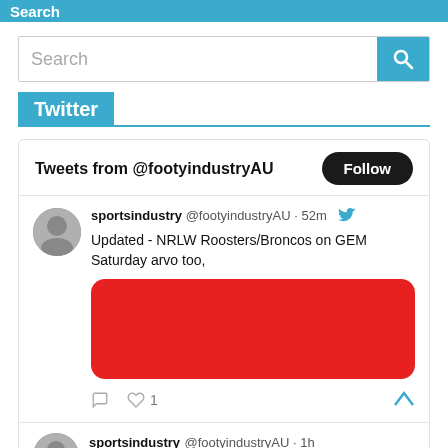Search
Search
Twitter
Tweets from @footyindustryAU
sportsindustry @footyindustryAU · 52m
Updated - NRLW Roosters/Broncos on GEM Saturday arvo too,
[Figure (other): Red rounded rectangle image placeholder inside tweet]
♡ 1
sportsindustry @footyindustryAU · 1h